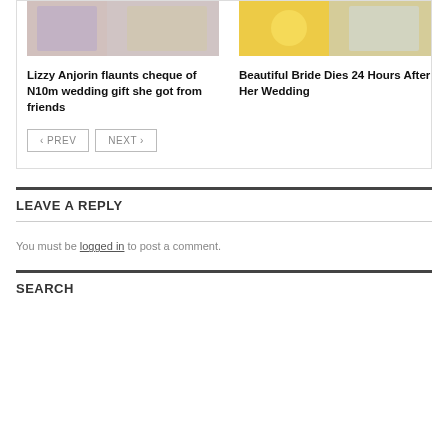[Figure (photo): Photo of Lizzy Anjorin at wedding event]
[Figure (photo): Photo of a bride at wedding]
Lizzy Anjorin flaunts cheque of N10m wedding gift she got from friends
Beautiful Bride Dies 24 Hours After Her Wedding
< PREV   NEXT >
LEAVE A REPLY
You must be logged in to post a comment.
SEARCH